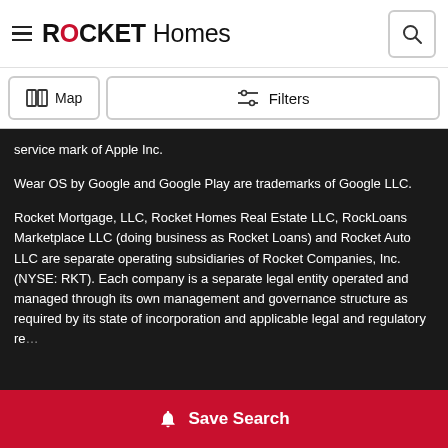ROCKET Homes
service mark of Apple Inc.
Wear OS by Google and Google Play are trademarks of Google LLC.
Rocket Mortgage, LLC, Rocket Homes Real Estate LLC, RockLoans Marketplace LLC (doing business as Rocket Loans) and Rocket Auto LLC are separate operating subsidiaries of Rocket Companies, Inc. (NYSE: RKT). Each company is a separate legal entity operated and managed through its own management and governance structure as required by its state of incorporation and applicable legal and regulatory re...
Save Search